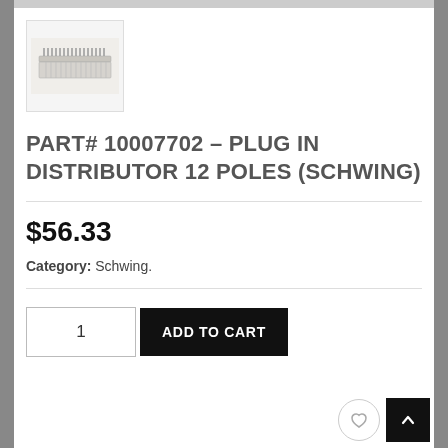[Figure (photo): Product thumbnail photo of a plug-in distributor with 12 poles (coil/spring-like component), shown against white background]
PART# 10007702 – PLUG IN DISTRIBUTOR 12 POLES (SCHWING)
$56.33
Category: Schwing.
1
ADD TO CART